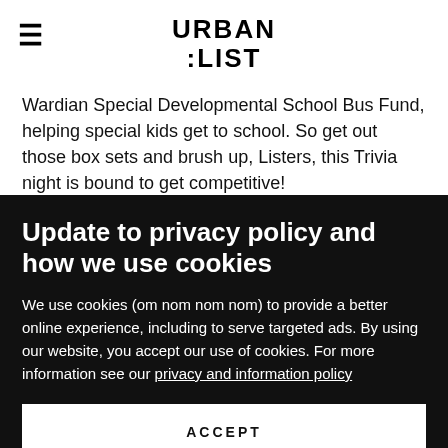URBAN LIST
Wardian Special Developmental School Bus Fund, helping special kids get to school. So get out those box sets and brush up, Listers, this Trivia night is bound to get competitive!
Update to privacy policy and how we use cookies
We use cookies (om nom nom nom) to provide a better online experience, including to serve targeted ads. By using our website, you accept our use of cookies. For more information see our privacy and information policy
ACCEPT